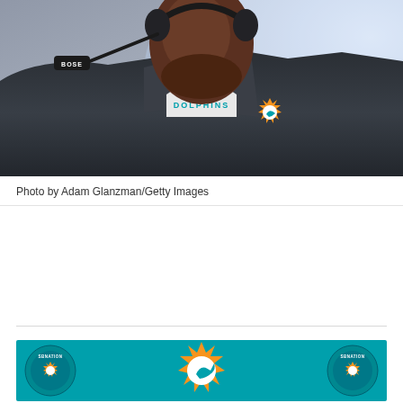[Figure (photo): A Miami Dolphins coach wearing a dark gray jacket over a white/teal Dolphins shirt, wearing a Bose headset, photographed from the chest up against a blurred stadium background.]
Photo by Adam Glanzman/Getty Images
[Figure (logo): Miami Dolphins branding graphic with teal background, large orange Miami Dolphins sun/dolphin logo in center, flanked by two SBNation circular badge logos on left and right.]